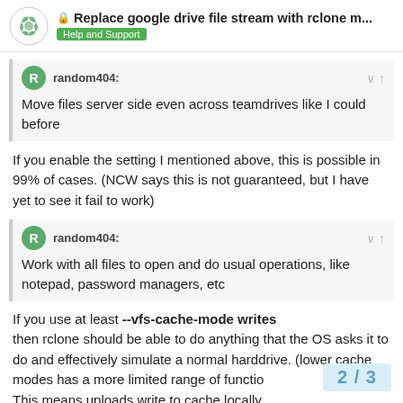Replace google drive file stream with rclone m... | Help and Support
random404:
Move files server side even across teamdrives like I could before
If you enable the setting I mentioned above, this is possible in 99% of cases. (NCW says this is not guaranteed, but I have yet to see it fail to work)
random404:
Work with all files to open and do usual operations, like notepad, password managers, etc
If you use at least --vfs-cache-mode writes then rclone should be able to do anything that the OS asks it to do and effectively simulate a normal harddrive. (lower cache modes has a more limited range of functio... This means uploads write to cache locally
2 / 3